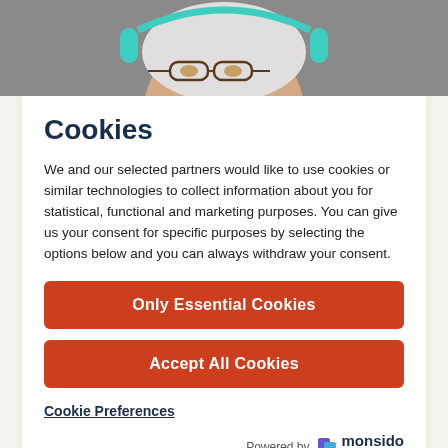[Figure (photo): Partial photo of an elderly person wearing teal/green headphones, gray background, only top of face visible]
Cookies
We and our selected partners would like to use cookies or similar technologies to collect information about you for statistical, functional and marketing purposes. You can give us your consent for specific purposes by selecting the options below and you can always withdraw your consent.
Only Essential Cookies
Accept All Cookies
Cookie Preferences
Powered by monsido an Optimere Brand